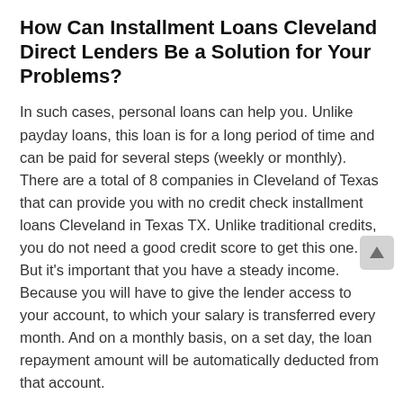How Can Installment Loans Cleveland Direct Lenders Be a Solution for Your Problems?
In such cases, personal loans can help you. Unlike payday loans, this loan is for a long period of time and can be paid for several steps (weekly or monthly). There are a total of 8 companies in Cleveland of Texas that can provide you with no credit check installment loans Cleveland in Texas TX. Unlike traditional credits, you do not need a good credit score to get this one. But it's important that you have a steady income. Because you will have to give the lender access to your account, to which your salary is transferred every month. And on a monthly basis, on a set day, the loan repayment amount will be automatically deducted from that account.
Installment loans Cleveland online are very convenient, but at the same time, very expensive. The interest rate on such loans is quite high, so you should think carefully before deciding to use it. But in urgent situations, it is quite a convenient option.